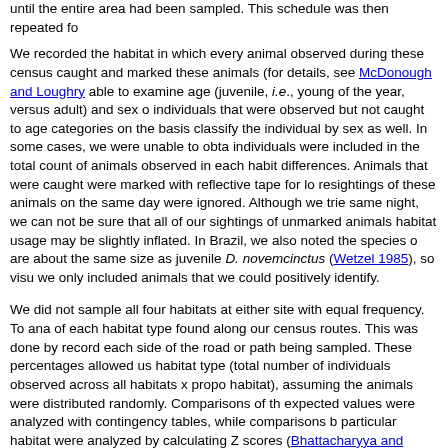until the entire area had been sampled. This schedule was then repeated fo...
We recorded the habitat in which every animal observed during these census... caught and marked these animals (for details, see McDonough and Loughry... able to examine age (juvenile, i.e., young of the year, versus adult) and sex o... individuals that were observed but not caught to age categories on the basis... classify the individual by sex as well. In some cases, we were unable to obta... individuals were included in the total count of animals observed in each habit... differences. Animals that were caught were marked with reflective tape for lo... resightings of these animals on the same day were ignored. Although we trie... same night, we can not be sure that all of our sightings of unmarked animals... habitat usage may be slightly inflated. In Brazil, we also noted the species o... are about the same size as juvenile D. novemcinctus (Wetzel 1985), so visu... we only included animals that we could positively identify.
We did not sample all four habitats at either site with equal frequency. To ana... of each habitat type found along our census routes. This was done by record... each side of the road or path being sampled. These percentages allowed us... habitat type (total number of individuals observed across all habitats x propo... habitat), assuming the animals were distributed randomly. Comparisons of th... expected values were analyzed with contingency tables, while comparisons b... particular habitat were analyzed by calculating Z scores (Bhattacharyya and... sample to work with (see below), we further analyzed distributions of animals... of the study.
There is a potential problem with the above analyses. If armadillos were mor... could reflect differences in detectability rather than differences in habitat usag... First, while visibility does vary between habitats (Loughry and McDonough 19... making them conspicuous even when they are not initially visible. In many ca... them until they came into view. Thus, we are reasonably confident that, in al... 25-30 m of the road or trail we were surveying. Second, if detectability was...